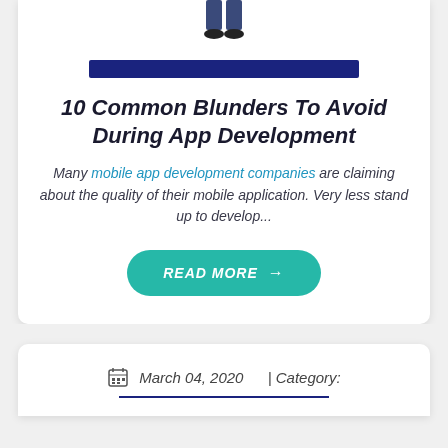[Figure (illustration): Partial illustration of a person's legs/feet at top of card]
10 Common Blunders To Avoid During App Development
Many mobile app development companies are claiming about the quality of their mobile application. Very less stand up to develop...
READ MORE →
March 04, 2020 | Category: